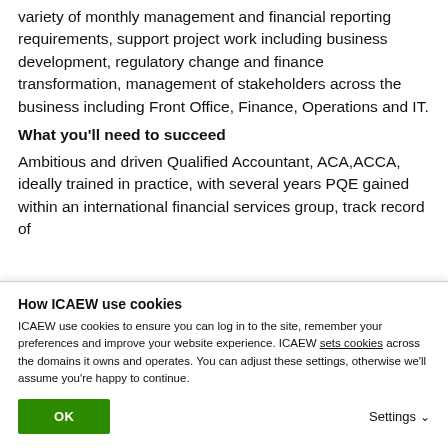variety of monthly management and financial reporting requirements, support project work including business development, regulatory change and finance transformation, management of stakeholders across the business including Front Office, Finance, Operations and IT.
What you'll need to succeed
Ambitious and driven Qualified Accountant, ACA,ACCA, ideally trained in practice, with several years PQE gained within an international financial services group, track record of
How ICAEW use cookies
ICAEW use cookies to ensure you can log in to the site, remember your preferences and improve your website experience. ICAEW sets cookies across the domains it owns and operates. You can adjust these settings, otherwise we'll assume you're happy to continue.